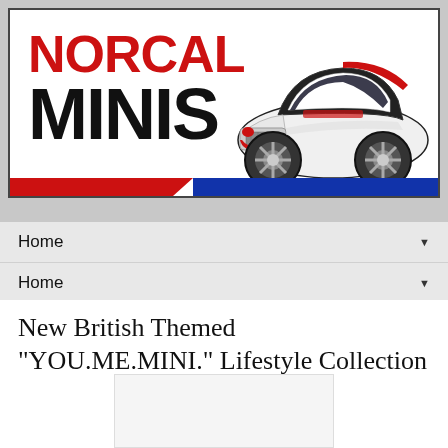[Figure (logo): NorCal Minis logo banner with red NORCAL text, black MINIS text, and a white MINI Cooper car illustration on the right side with red, white and blue stripe bar below]
Home ▼
Home ▼
New British Themed "YOU.ME.MINI." Lifestyle Collection
[Figure (photo): Partially visible image placeholder at bottom of page]